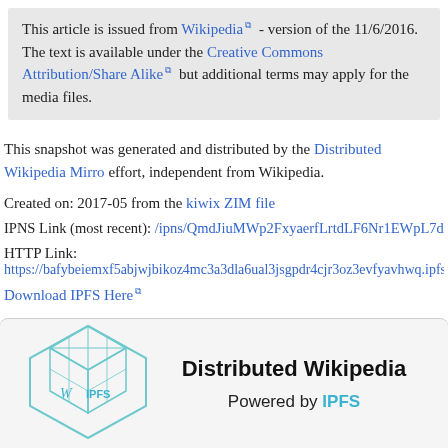This article is issued from Wikipedia - version of the 11/6/2016. The text is available under the Creative Commons Attribution/Share Alike but additional terms may apply for the media files.
This snapshot was generated and distributed by the Distributed Wikipedia Mirro effort, independent from Wikipedia.
Created on: 2017-05 from the kiwix ZIM file
IPNS Link (most recent): /ipns/QmdJiuMWp2FxyaerfLrtdLF6Nr1EWpL7dPAx
HTTP Link:
https://bafybeiemxf5abjwjbikoz4mc3a3dla6ual3jsgpdr4cjr3oz3evfyavhwq.ipfs.c
Download IPFS Here
[Figure (logo): Distributed Wikipedia powered by IPFS logo with hexagonal cube icon labeled W and IPFS]